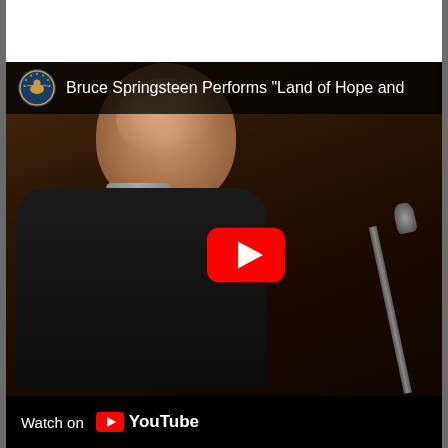[Figure (screenshot): YouTube video thumbnail/embed showing Bruce Springsteen performing at a microphone outdoors. A circular Presidential seal/logo appears in the top-left corner of the video. The video title reads 'Bruce Springsteen Performs "Land of Hope and'. A red YouTube play button is overlaid in the center-right of the video. The bottom bar shows 'Watch on YouTube' with the YouTube logo.]